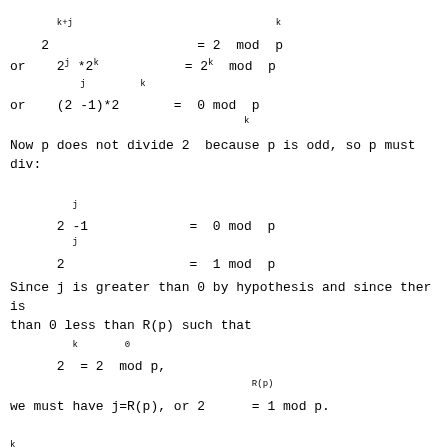Now p does not divide 2  because p is odd, so p must div:
Since j is greater than 0 by hypothesis and since ther is
than 0 less than R(p) such that
we must have j=R(p), or 2        = 1 mod p.
We have thus shown that for odd p, the remainders mod(2 ,
for k = 0, 1,..., R(p)-1 and then repeat exactly, beginni:
We now consider even p.  let